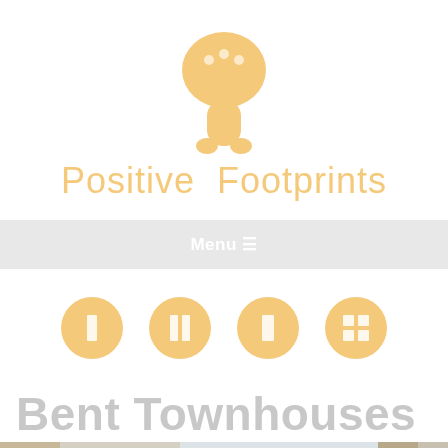[Figure (logo): Mushroom/footprint shaped logo icon in golden yellow/peach color]
Positive Footprints
Menu ☰
[Figure (infographic): Four golden circular icon buttons in a row representing different view/layout options]
Bent Townhouses